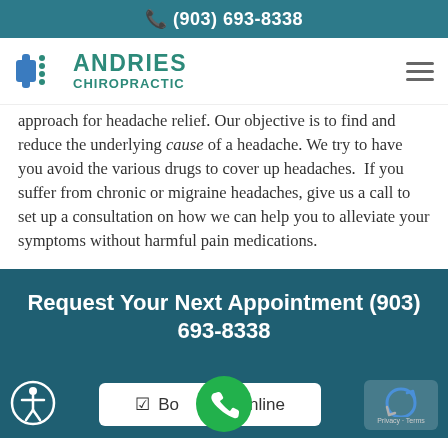(903) 693-8338
[Figure (logo): Andries Chiropractic logo with teal spine/cross icon and teal text reading ANDRIES CHIROPRACTIC]
approach for headache relief. Our objective is to find and reduce the underlying cause of a headache. We try to have you avoid the various drugs to cover up headaches. If you suffer from chronic or migraine headaches, give us a call to set up a consultation on how we can help you to alleviate your symptoms without harmful pain medications.
Request Your Next Appointment (903) 693-8338
Book Online